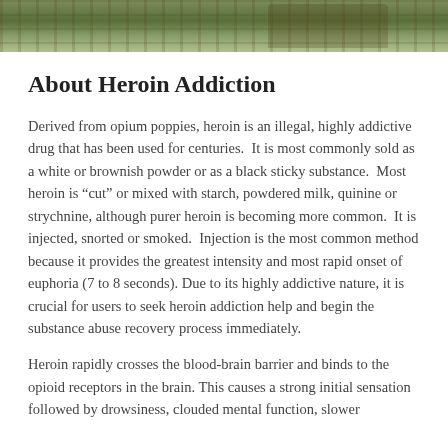[Figure (photo): Header image of outdoor nature scene with trees, foliage, and a wooden structure visible in the background]
About Heroin Addiction
Derived from opium poppies, heroin is an illegal, highly addictive drug that has been used for centuries.  It is most commonly sold as a white or brownish powder or as a black sticky substance.  Most heroin is “cut” or mixed with starch, powdered milk, quinine or strychnine, although purer heroin is becoming more common.  It is injected, snorted or smoked.  Injection is the most common method because it provides the greatest intensity and most rapid onset of euphoria (7 to 8 seconds). Due to its highly addictive nature, it is crucial for users to seek heroin addiction help and begin the substance abuse recovery process immediately.
Heroin rapidly crosses the blood-brain barrier and binds to the opioid receptors in the brain. This causes a strong initial sensation followed by drowsiness, clouded mental function, slower